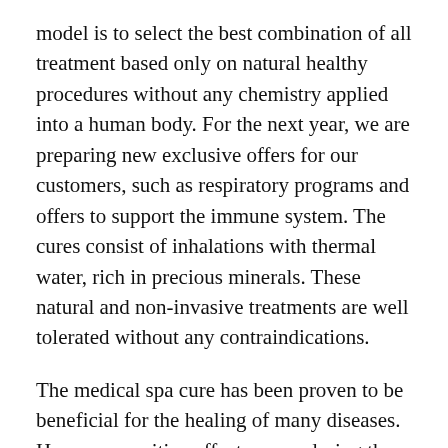model is to select the best combination of all treatment based only on natural healthy procedures without any chemistry applied into a human body. For the next year, we are preparing new exclusive offers for our customers, such as respiratory programs and offers to support the immune system. The cures consist of inhalations with thermal water, rich in precious minerals. These natural and non-invasive treatments are well tolerated without any contraindications.
The medical spa cure has been proven to be beneficial for the healing of many diseases. However, positive effects occur during the curative period and persist for several months after the treatment. This is one of the reasons why people regularly return to the spa.
How the coronavirus pandemic affects your business, and how are